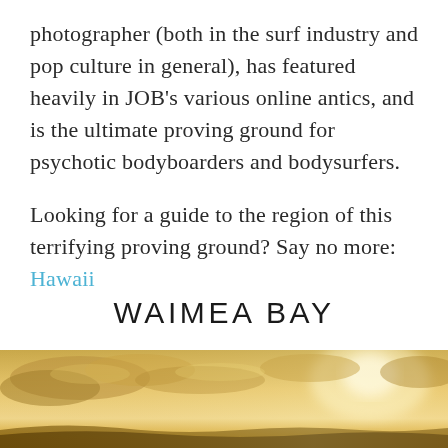photographer (both in the surf industry and pop culture in general), has featured heavily in JOB's various online antics, and is the ultimate proving ground for psychotic bodyboarders and bodysurfers.
Looking for a guide to the region of this terrifying proving ground? Say no more: Hawaii
WAIMEA BAY
[Figure (photo): Golden sky with dramatic clouds and warm sunlit horizon, background photo for Waimea Bay section.]